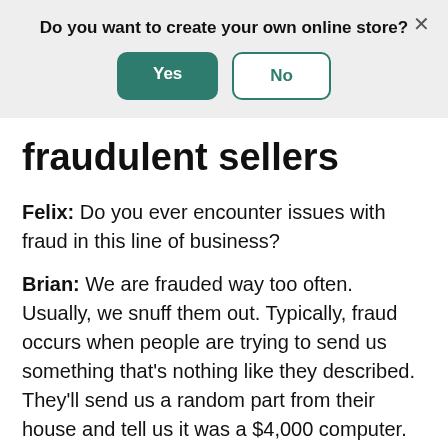[Figure (screenshot): A dialog banner with a question 'Do you want to create your own online store?' and two buttons: a green 'Yes' button and a white/outlined 'No' button, with an X close button in the top right.]
fraudulent sellers
Felix: Do you ever encounter issues with fraud in this line of business?
Brian: We are frauded way too often. Usually, we snuff them out. Typically, fraud occurs when people are trying to send us something that's nothing like they described. They'll send us a random part from their house and tell us it was a $4,000 computer. We're not going to pay